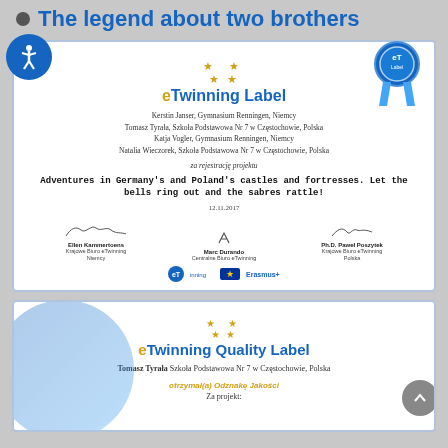The legend about two brothers
[Figure (other): eTwinning Label certificate with accessibility icon and award ribbon, listing Kerstin Janser, Tomasz Tyrala, Katja Vogler, Natalia Wieczorek for the project Adventures in Germany's and Poland's castles and fortresses, dated 12.11.2017]
[Figure (other): eTwinning Quality Label certificate for Tomasz Tyrala, Szkola Podstawowa Nr 7 w Czestochowie Polska, with text otrzymal(a) Odznake Jakosci Za projekt:]